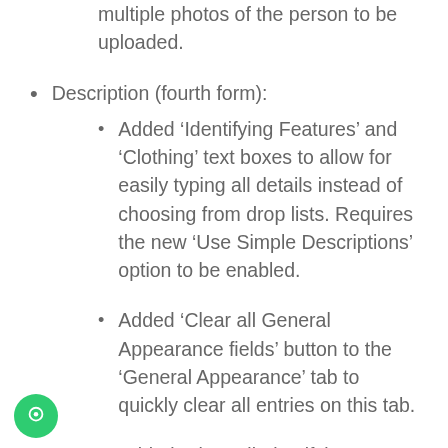multiple photos of the person to be uploaded.
Description (fourth form):
Added ‘Identifying Features’ and ‘Clothing’ text boxes to allow for easily typing all details instead of choosing from drop lists. Requires the new ‘Use Simple Descriptions’ option to be enabled.
Added ‘Clear all General Appearance fields’ button to the ‘General Appearance’ tab to quickly clear all entries on this tab.
Added ‘Clear all Identifying Features’ fields’ button to the ‘Identifying Features’ tab to quickly clear all